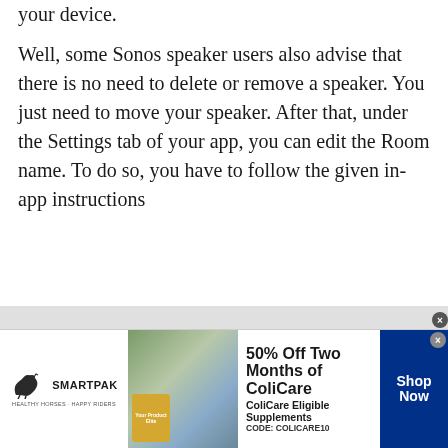your device.
Well, some Sonos speaker users also advise that there is no need to delete or remove a speaker. You just need to move your speaker. After that, under the Settings tab of your app, you can edit the Room name. To do so, you have to follow the given in-app instructions
Head over-Settings > Room settings > edit the Room name > rename it with a new name.
[Figure (screenshot): Advertisement banner for SmartPak featuring ColiCare supplement promotion: 50% Off Two Months of ColiCare, ColiCare Eligible Supplements, CODE: COLICARE10, with Shop Now button]